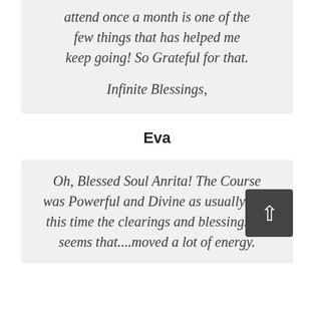...attend once a month is one of the few things that has helped me keep going! So Grateful for that.

Infinite Blessings,
Eva
Oh, Blessed Soul Anrita! The Course was Powerful and Divine as usually. But this time the clearings and blessings ..it seems that....moved a lot of energy.